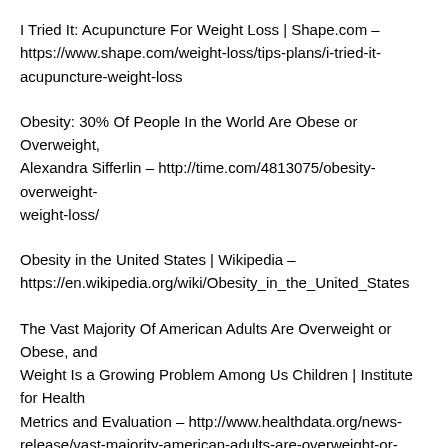I Tried It: Acupuncture For Weight Loss | Shape.com – https://www.shape.com/weight-loss/tips-plans/i-tried-it-acupuncture-weight-loss
Obesity: 30% Of People In the World Are Obese or Overweight, Alexandra Sifferlin – http://time.com/4813075/obesity-overweight-weight-loss/
Obesity in the United States | Wikipedia – https://en.wikipedia.org/wiki/Obesity_in_the_United_States
The Vast Majority Of American Adults Are Overweight or Obese, and Weight Is a Growing Problem Among Us Children | Institute for Health Metrics and Evaluation – http://www.healthdata.org/news-release/vast-majority-american-adults-are-overweight-or-obese-and